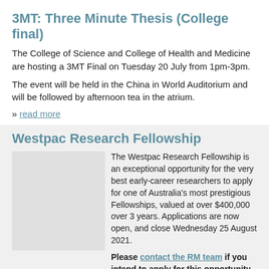3MT: Three Minute Thesis (College final)
The College of Science and College of Health and Medicine are hosting a 3MT Final on Tuesday 20 July from 1pm-3pm.
The event will be held in the China in World Auditorium and will be followed by afternoon tea in the atrium.
» read more
Westpac Research Fellowship
The Westpac Research Fellowship is an exceptional opportunity for the very best early-career researchers to apply for one of Australia's most prestigious Fellowships, valued at over $400,000 over 3 years. Applications are now open, and close Wednesday 25 August 2021.
Please contact the RM team if you intend to apply for this opportunity at your earliest convenience.
Opportunity for PhD and Early Career scientists: